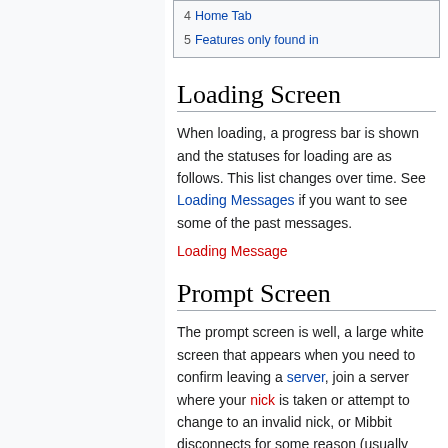4 Home Tab
5 Features only found in
Loading Screen
When loading, a progress bar is shown and the statuses for loading are as follows. This list changes over time. See Loading Messages if you want to see some of the past messages.
Loading Message
Prompt Screen
The prompt screen is well, a large white screen that appears when you need to confirm leaving a server, join a server where your nick is taken or attempt to change to an invalid nick, or Mibbit disconnects for some reason (usually